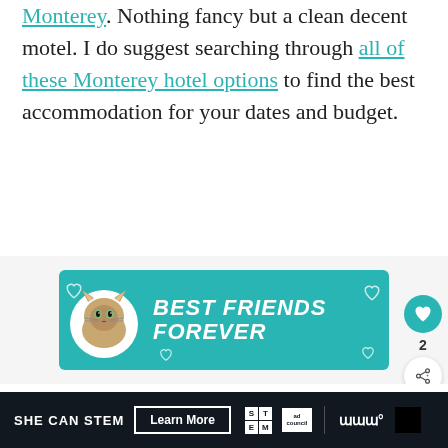Monterey. Nothing fancy but a clean decent motel. I do suggest searching through all of these Monterey hotel options to find the best accommodation for your dates and budget.
[Figure (illustration): Advertisement banner with teal background showing a cat and text 'BEST FRIENDS FOREVER' in bold white italic letters with heart decorations]
[Figure (screenshot): Like button (heart icon in teal circle) with count 2, and a share button below it]
[Figure (infographic): Dark bottom ad bar: SHE CAN STEM text, Learn More button, STEM logo grid, Ad Council logo, wave logo, and black box]